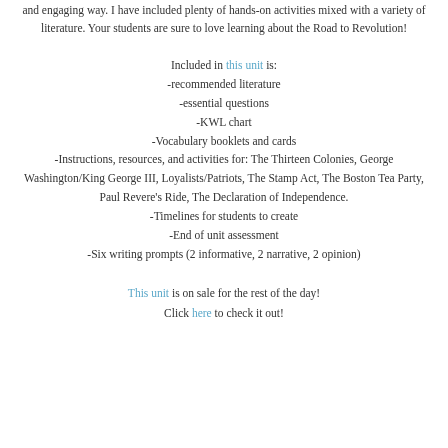and engaging way. I have included plenty of hands-on activities mixed with a variety of literature. Your students are sure to love learning about the Road to Revolution!
Included in this unit is:
-recommended literature
-essential questions
-KWL chart
-Vocabulary booklets and cards
-Instructions, resources, and activities for: The Thirteen Colonies, George Washington/King George III, Loyalists/Patriots, The Stamp Act, The Boston Tea Party, Paul Revere's Ride, The Declaration of Independence.
-Timelines for students to create
-End of unit assessment
-Six writing prompts (2 informative, 2 narrative, 2 opinion)
This unit is on sale for the rest of the day! Click here to check it out!